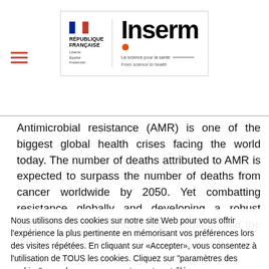République Française / Inserm header with logos
Antimicrobial resistance (AMR) is one of the biggest global health crises facing the world today. The number of deaths attributed to AMR is expected to surpass the number of deaths from cancer worldwide by 2050. Yet combatting resistance globally and developing a robust arsenal of antibiotics continues to fall behind the pace of resistance.
Nous utilisons des cookies sur notre site Web pour vous offrir l'expérience la plus pertinente en mémorisant vos préférences lors des visites répétées. En cliquant sur «Accepter», vous consentez à l'utilisation de TOUS les cookies. Cliquez sur "paramètres des cookies" pour donner un consentement contrôlé.
En savoir plus
Paramètres des cookies
Accepter